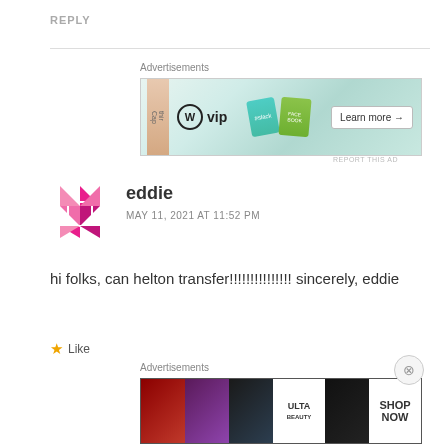REPLY
[Figure (screenshot): Advertisement banner for WordPress VIP featuring Slack and Facebook branded cards with a Learn more button]
eddie
MAY 11, 2021 AT 11:52 PM
hi folks, can helton transfer!!!!!!!!!!!!!!! sincerely, eddie
Like
[Figure (screenshot): Advertisement banner for ULTA beauty showing lip, brush, eye makeup photos with SHOP NOW button]